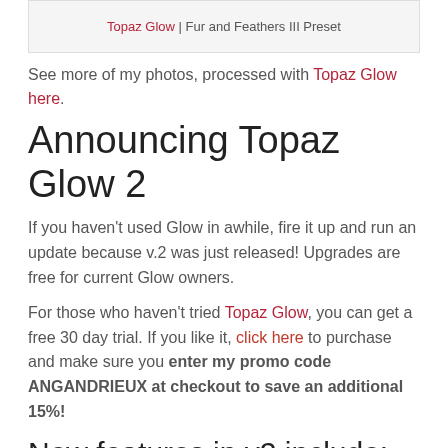Topaz Glow | Fur and Feathers III Preset
See more of my photos, processed with Topaz Glow here.
Announcing Topaz Glow 2
If you haven't used Glow in awhile, fire it up and run an update because v.2 was just released! Upgrades are free for current Glow owners.
For those who haven't tried Topaz Glow, you can get a free 30 day trial. If you like it, click here to purchase and make sure you enter my promo code ANGANDRIEUX at checkout to save an additional 15%!
New features in v2 include:
Over 30 New Presets – That brings the total to over 100 included effects to amplify your images or give you a boost creating a personal look you love.
New Masking Module -You no longer need a host